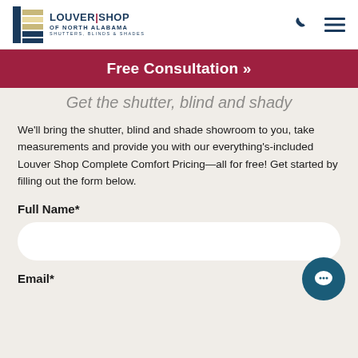LOUVER | SHOP OF NORTH ALABAMA — SHUTTERS, BLINDS & SHADES
Free Consultation »
Get the shutter, blind and shade showroom to you, take measurements and provide you with our everything's-included Louver Shop Complete Comfort Pricing—all for free! Get started by filling out the form below.
Full Name*
Email*